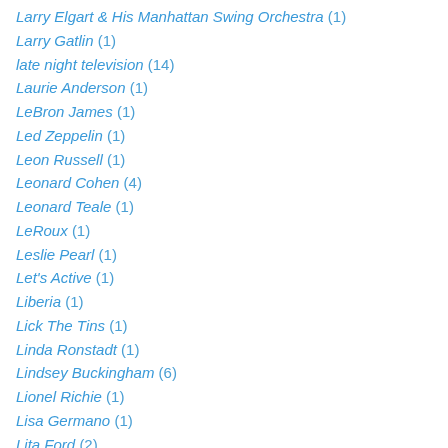Larry Elgart & His Manhattan Swing Orchestra (1)
Larry Gatlin (1)
late night television (14)
Laurie Anderson (1)
LeBron James (1)
Led Zeppelin (1)
Leon Russell (1)
Leonard Cohen (4)
Leonard Teale (1)
LeRoux (1)
Leslie Pearl (1)
Let's Active (1)
Liberia (1)
Lick The Tins (1)
Linda Ronstadt (1)
Lindsey Buckingham (6)
Lionel Richie (1)
Lisa Germano (1)
Lita Ford (2)
Little Feat (1)